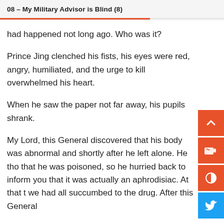08 – My Military Advisor is Blind (8)
had happened not long ago. Who was it?
Prince Jing clenched his fists, his eyes were red, angry, humiliated, and the urge to kill overwhelmed his heart.
When he saw the paper not far away, his pupils shrank.
My Lord, this General discovered that his body was abnormal and shortly after he left alone. He tho that he was poisoned, so he hurried back to inform you that it was actually an aphrodisiac. At that t we had all succumbed to the drug. After this General